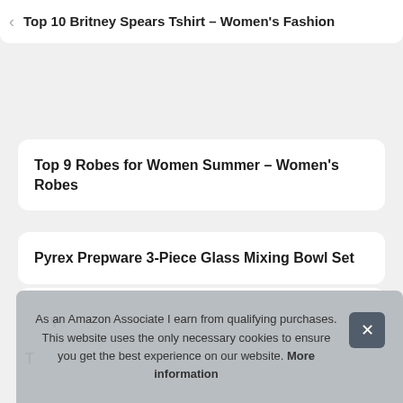Top 10 Britney Spears Tshirt – Women's Fashion
Top 9 Robes for Women Summer – Women's Robes
Pyrex Prepware 3-Piece Glass Mixing Bowl Set
T
T
As an Amazon Associate I earn from qualifying purchases. This website uses the only necessary cookies to ensure you get the best experience on our website. More information